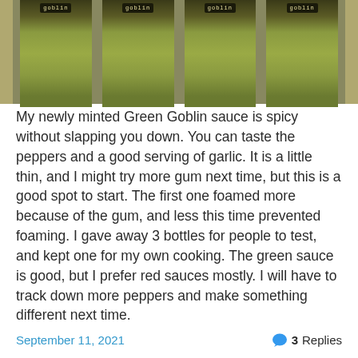[Figure (photo): Four jars of homemade Green Goblin hot sauce with dark labels on top, containing green/olive colored sauce, lined up on a surface.]
My newly minted Green Goblin sauce is spicy without slapping you down. You can taste the peppers and a good serving of garlic. It is a little thin, and I might try more gum next time, but this is a good spot to start. The first one foamed more because of the gum, and less this time prevented foaming. I gave away 3 bottles for people to test, and kept one for my own cooking. The green sauce is good, but I prefer red sauces mostly. I will have to track down more peppers and make something different next time.
September 11, 2021   3 Replies